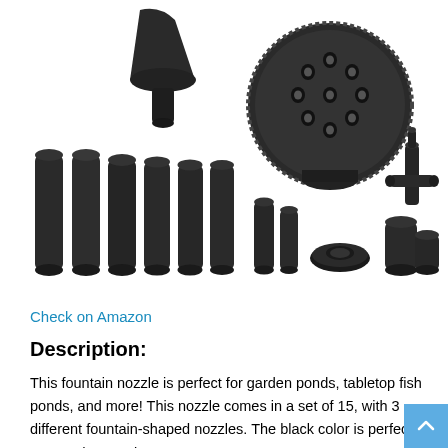[Figure (photo): Product photo showing a set of 15 black fountain nozzles including various tube extensions, a multi-hole spray head disc, flat disc nozzle, cylindrical pieces, T-connector, and other fountain components arranged on white background.]
Check on Amazon
Description:
This fountain nozzle is perfect for garden ponds, tabletop fish ponds, and more! This nozzle comes in a set of 15, with 3 different fountain-shaped nozzles. The black color is perfect for any outdoor setting.